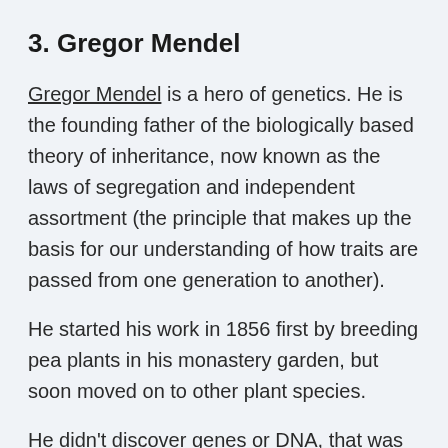3. Gregor Mendel
Gregor Mendel is a hero of genetics. He is the founding father of the biologically based theory of inheritance, now known as the laws of segregation and independent assortment (the principle that makes up the basis for our understanding of how traits are passed from one generation to another).
He started his work in 1856 first by breeding pea plants in his monastery garden, but soon moved on to other plant species.
He didn't discover genes or DNA, that was done by others much later. But he laid the groundwork for all that followed and his work is recognized